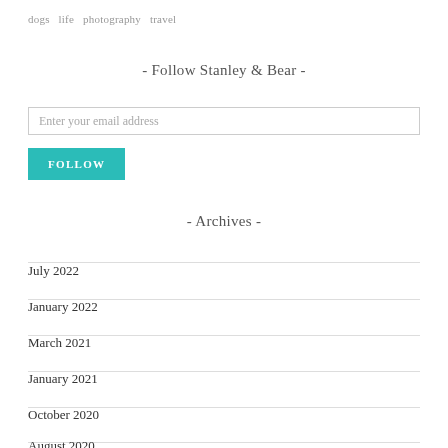dogs  life  photography  travel
- Follow Stanley & Bear -
Enter your email address
FOLLOW
- Archives -
July 2022
January 2022
March 2021
January 2021
October 2020
August 2020